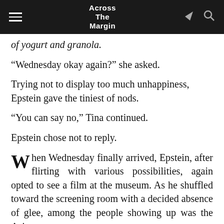Across The Margin
of yogurt and granola.
“Wednesday okay again?” she asked.
Trying not to display too much unhappiness, Epstein gave the tiniest of nods.
“You can say no,” Tina continued.
Epstein chose not to reply.
When Wednesday finally arrived, Epstein, after flirting with various possibilities, again opted to see a film at the museum. As he shuffled toward the screening room with a decided absence of glee, among the people showing up was the Asian woman